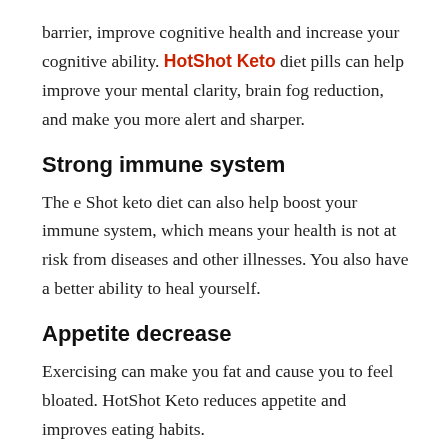barrier, improve cognitive health and increase your cognitive ability. HotShot Keto diet pills can help improve your mental clarity, brain fog reduction, and make you more alert and sharper.
Strong immune system
The e Shot keto diet can also help boost your immune system, which means your health is not at risk from diseases and other illnesses. You also have a better ability to heal yourself.
Appetite decrease
Exercising can make you fat and cause you to feel bloated. HotShot Keto reduces appetite and improves eating habits.